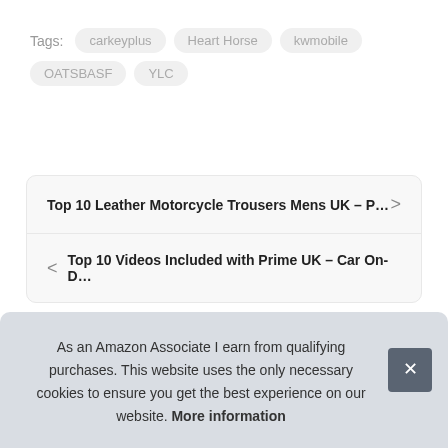Tags: carkeyplus  Heart Horse  kwmobile  OATSBASF  YLC
Top 10 Leather Motorcycle Trousers Mens UK – P…
Top 10 Videos Included with Prime UK – Car On-D…
As an Amazon Associate I earn from qualifying purchases. This website uses the only necessary cookies to ensure you get the best experience on our website. More information